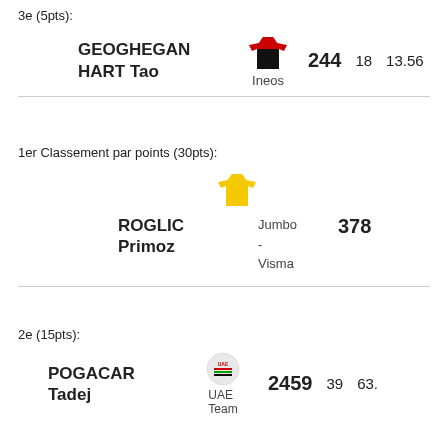3e (5pts):
| Rider | Team | Score | Col3 | Col4 |
| --- | --- | --- | --- | --- |
| GEOGHEGAN HART Tao | Ineos | 244 | 18 | 13.56 |
1er Classement par points (30pts):
| Rider | Team | Score |
| --- | --- | --- |
| ROGLIC Primoz | Jumbo - Visma | 378 |
2e (15pts):
| Rider | Team | Score | Col3 | Col4 |
| --- | --- | --- | --- | --- |
| POGACAR Tadej | UAE Team | 2459 | 39 | 63. |